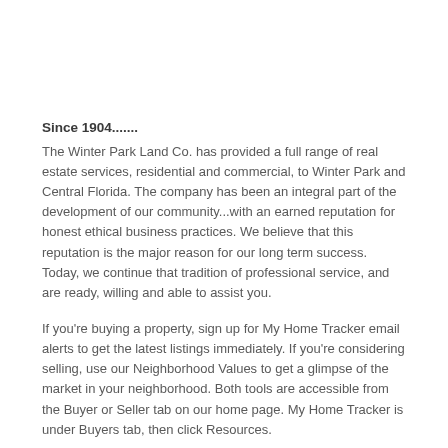Since 1904.......
The Winter Park Land Co. has provided a full range of real estate services, residential and commercial, to Winter Park and Central Florida. The company has been an integral part of the development of our community...with an earned reputation for honest ethical business practices. We believe that this reputation is the major reason for our long term success. Today, we continue that tradition of professional service, and are ready, willing and able to assist you.
If you're buying a property, sign up for My Home Tracker email alerts to get the latest listings immediately. If you're considering selling, use our Neighborhood Values to get a glimpse of the market in your neighborhood. Both tools are accessible from the Buyer or Seller tab on our home page. My Home Tracker is under Buyers tab, then click Resources.